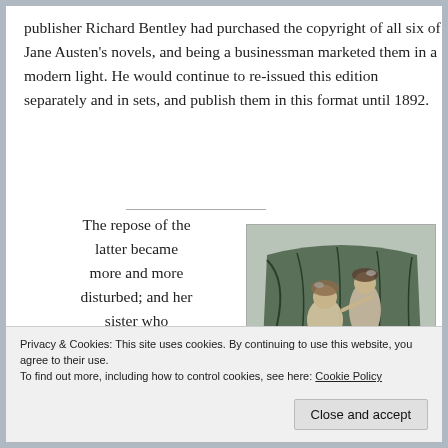publisher Richard Bentley had purchased the copyright of all six of Jane Austen's novels, and being a businessman marketed them in a modern light. He would continue to re-issued this edition separately and in sets, and publish them in this format until 1892.
The repose of the latter became more and more disturbed; and her sister who
[Figure (illustration): A vintage engraving illustration showing two figures, appearing to be women in 19th century dress, near an ornate armchair or settee with decorative drapery.]
of gestures, and heard the frequently
Privacy & Cookies: This site uses cookies. By continuing to use this website, you agree to their use.
To find out more, including how to control cookies, see here: Cookie Policy